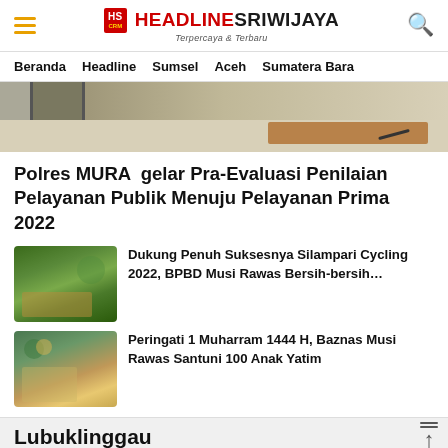HEADLINE SRIWIJAYA — Terpercaya & Terbaru
Beranda  Headline  Sumsel  Aceh  Sumatera Bara
[Figure (photo): Top portion of a room showing a door and a wooden desk with a pen/marker on it, light-colored floor visible]
Polres MURA  gelar Pra-Evaluasi Penilaian Pelayanan Publik Menuju Pelayanan Prima 2022
[Figure (photo): Thumbnail photo of debris/trees near water, likely a cleanup scene for Silampari Cycling 2022]
Dukung Penuh Suksesnya Silampari Cycling 2022, BPBD Musi Rawas Bersih-bersih…
[Figure (photo): Thumbnail photo of people in green shirts, likely a Baznas Musi Rawas event for Muharram 1444 H]
Peringati 1 Muharram 1444 H, Baznas Musi Rawas Santuni 100 Anak Yatim
Lubuklinggau